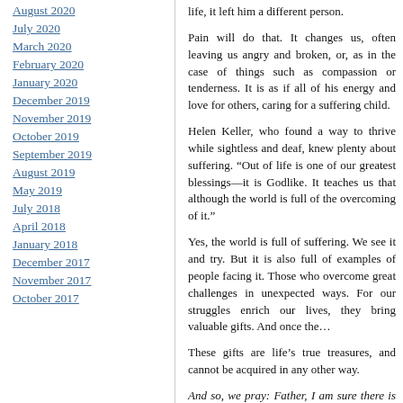August 2020
July 2020
March 2020
February 2020
January 2020
December 2019
November 2019
October 2019
September 2019
August 2019
May 2019
July 2018
April 2018
January 2018
December 2017
November 2017
October 2017
life, it left him a different person.
Pain will do that. It changes us, often leaving us angry and broken, or, as in the case of things such as compassion or tenderness. It is as if all of his energy and love for others, caring for a suffering child.
Helen Keller, who found a way to thrive while sightless and deaf, knew plenty about suffering. “Out of life is one of our greatest blessings—it is Godlike. It teaches us that although the world is full of the overcoming of it.”
Yes, the world is full of suffering. We see it and try. But it is also full of examples of people facing it. Those who overcome great challenges in unexpected ways. For our struggles enrich our lives, they bring valuable gifts. And once the…
These gifts are life’s true treasures, and cannot be acquired in any other way.
And so, we pray: Father, I am sure there is none of us invites it into our lives in order that… We wonder why we can’t have these gifts without the sickness comes into our lives, help us to use…